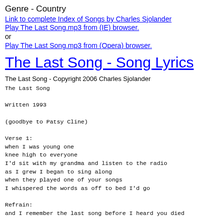Genre - Country
Link to complete Index of Songs by Charles Sjolander
Play The Last Song.mp3 from (IE) browser.
or
Play The Last Song.mp3 from (Opera) browser.
The Last Song - Song Lyrics
The Last Song - Copyright 2006 Charles Sjolander
The Last Song

Written 1993

(goodbye to Patsy Cline)

Verse 1:
when I was young one
knee high to everyone
I'd sit with my grandma and listen to the radio
as I grew I began to sing along
when they played one of your songs
I whispered the words as off to bed I'd go

Refrain:
and I remember the last song before I heard you died